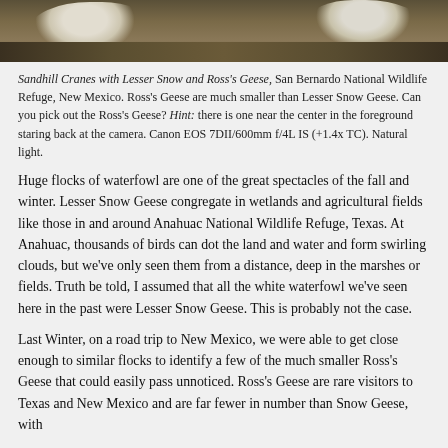[Figure (photo): Photograph showing Sandhill Cranes with Lesser Snow and Ross's Geese on the ground at San Bernardo National Wildlife Refuge, New Mexico. White-feathered birds visible against brown earth background.]
Sandhill Cranes with Lesser Snow and Ross's Geese, San Bernardo National Wildlife Refuge, New Mexico. Ross's Geese are much smaller than Lesser Snow Geese. Can you pick out the Ross's Geese? Hint: there is one near the center in the foreground staring back at the camera. Canon EOS 7DII/600mm f/4L IS (+1.4x TC). Natural light.
Huge flocks of waterfowl are one of the great spectacles of the fall and winter. Lesser Snow Geese congregate in wetlands and agricultural fields like those in and around Anahuac National Wildlife Refuge, Texas. At Anahuac, thousands of birds can dot the land and water and form swirling clouds, but we've only seen them from a distance, deep in the marshes or fields. Truth be told, I assumed that all the white waterfowl we've seen here in the past were Lesser Snow Geese. This is probably not the case.
Last Winter, on a road trip to New Mexico, we were able to get close enough to similar flocks to identify a few of the much smaller Ross's Geese that could easily pass unnoticed. Ross's Geese are rare visitors to Texas and New Mexico and are far fewer in number than Snow Geese, with